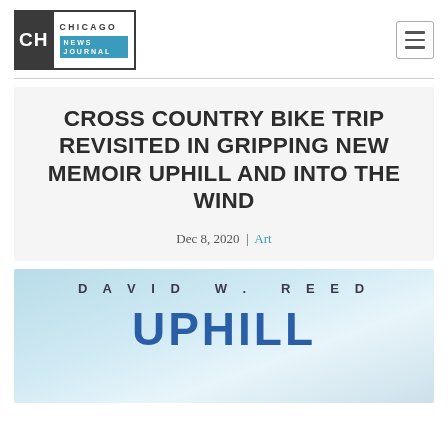Chicago News Journal
CROSS COUNTRY BIKE TRIP REVISITED IN GRIPPING NEW MEMOIR UPHILL AND INTO THE WIND
Dec 8, 2020 | Art
[Figure (photo): Partial book cover showing 'DAVID W. REED' as author name in spaced letters and the beginning of the title 'UPHILL' in large blue letters against a light blue sky background]